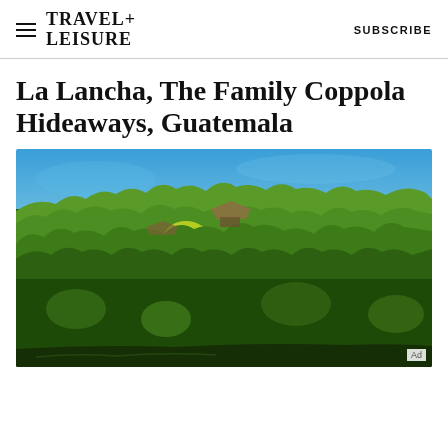TRAVEL+LEISURE   SUBSCRIBE
La Lancha, The Family Coppola Hideaways, Guatemala
[Figure (photo): Aerial or elevated view of La Lancha resort nestled among dense tropical rainforest trees with a bright blue sky above. The lush green canopy dominates the image with thatched roof structures visible among the trees.]